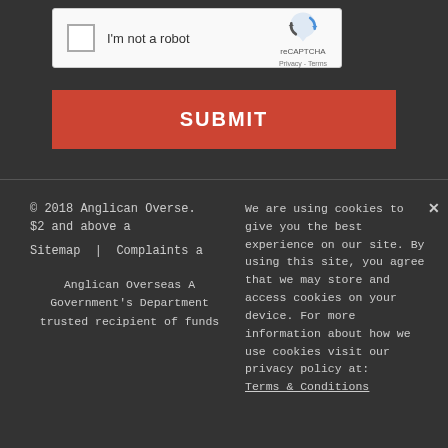[Figure (screenshot): reCAPTCHA widget with checkbox labeled 'I'm not a robot' and reCAPTCHA logo with Privacy and Terms links]
SUBMIT
© 2018 Anglican Overse.
$2 and above a
Sitemap  |  Complaints a
We are using cookies to give you the best experience on our site. By using this site, you agree that we may store and access cookies on your device. For more information about how we use cookies visit our privacy policy at:
Anglican Overseas A
Government's Department
trusted recipient of funds
Terms & Conditions